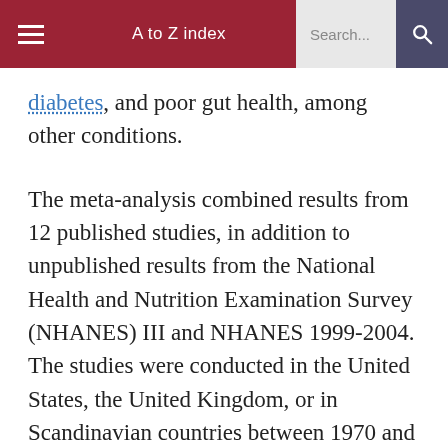A to Z index  Search...
diabetes, and poor gut health, among other conditions.
The meta-analysis combined results from 12 published studies, in addition to unpublished results from the National Health and Nutrition Examination Survey (NHANES) III and NHANES 1999-2004. The studies were conducted in the United States, the United Kingdom, or in Scandinavian countries between 1970 and 2010. Health information from 786,076 participants was included in the analysis.
The results showed that people who ate 70